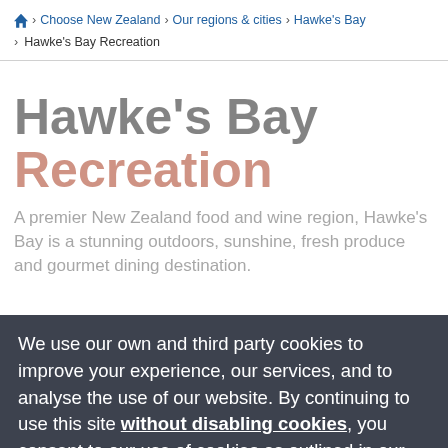🏠 > Choose New Zealand > Our regions & cities > Hawke's Bay > Hawke's Bay Recreation
Hawke's Bay Recreation
A premier New Zealand food and wine region, Hawke's Bay is a stunning outdoors, sunshine, fresh produce and gourmet dining destination.
We use our own and third party cookies to improve your experience, our services, and to analyse the use of our website. By continuing to use this site without disabling cookies, you consent to our use of cookies as outlined in our privacy policy.
OK, I agree | Decline